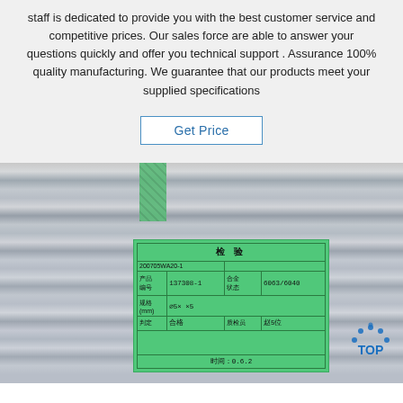staff is dedicated to provide you with the best customer service and competitive prices. Our sales force are able to answer your questions quickly and offer you technical support . Assurance 100% quality manufacturing. We guarantee that our products meet your supplied specifications
Get Price
[Figure (photo): Photo of stacked metallic steel rods/tubes with a green quality inspection label/card attached by a green strap. The card has a table with Chinese characters for 检验 (inspection), product number 137308-1, and other handwritten details. A 'TOP' logo watermark is visible in the bottom right corner.]